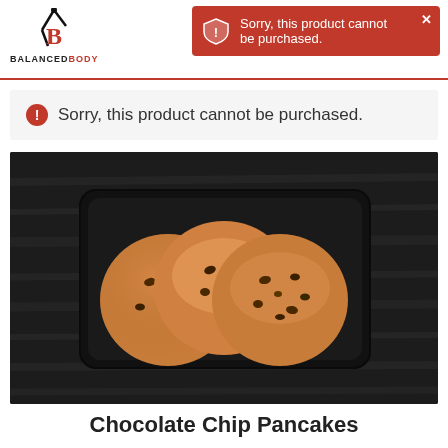BALANCED BODY
Sorry, this product cannot be purchased.
Sorry, this product cannot be purchased.
[Figure (photo): Three chocolate chip pancakes in a black rectangular tray, photographed from above on a dark wooden surface]
Chocolate Chip Pancakes